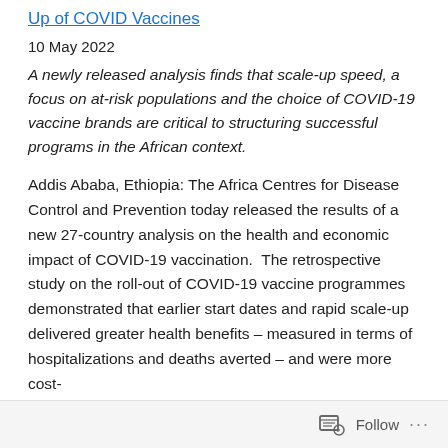Up of COVID Vaccines
10 May 2022
A newly released analysis finds that scale-up speed, a focus on at-risk populations and the choice of COVID-19 vaccine brands are critical to structuring successful programs in the African context.
Addis Ababa, Ethiopia: The Africa Centres for Disease Control and Prevention today released the results of a new 27-country analysis on the health and economic impact of COVID-19 vaccination.  The retrospective study on the roll-out of COVID-19 vaccine programmes demonstrated that earlier start dates and rapid scale-up delivered greater health benefits – measured in terms of hospitalizations and deaths averted – and were more cost-
Follow ...